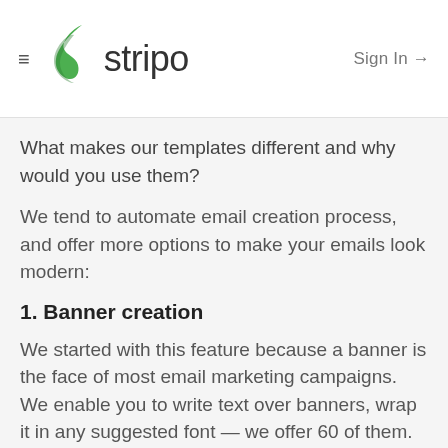≡ stripo  Sign In →
What makes our templates different and why would you use them?
We tend to automate email creation process, and offer more options to make your emails look modern:
1. Banner creation
We started with this feature because a banner is the face of most email marketing campaigns. We enable you to write text over banners, wrap it in any suggested font — we offer 60 of them. What is huge about this is that any text written in any font, once it is placed over banner or an image, will be